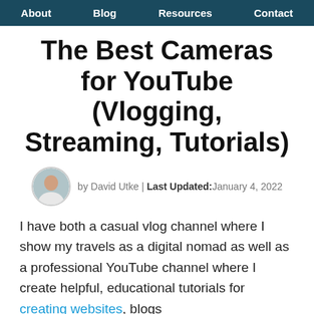About | Blog | Resources | Contact
The Best Cameras for YouTube (Vlogging, Streaming, Tutorials)
by David Utke | Last Updated: January 4, 2022
I have both a casual vlog channel where I show my travels as a digital nomad as well as a professional YouTube channel where I create helpful, educational tutorials for creating websites, blogs